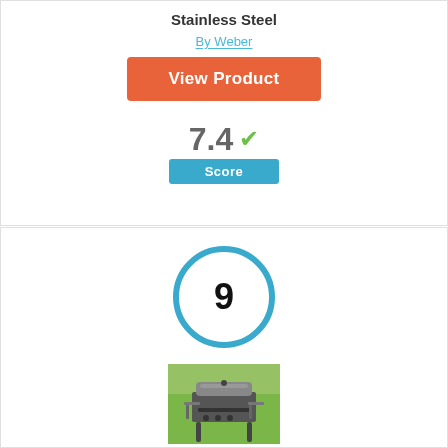Stainless Steel
By Weber
View Product
7.4 Score
9
[Figure (photo): Photo of a stainless steel gas grill outdoors with green background]